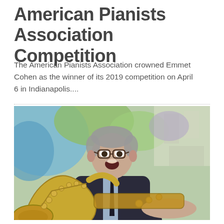American Pianists Association Competition
The American Pianists Association crowned Emmet Cohen as the winner of its 2019 competition on April 6 in Indianapolis....
[Figure (photo): A man in a dark suit and tie, wearing glasses, with an open-mouthed expression of excitement or surprise, holding a saxophone. Background features colorful abstract mural with blue, green, and white tones.]